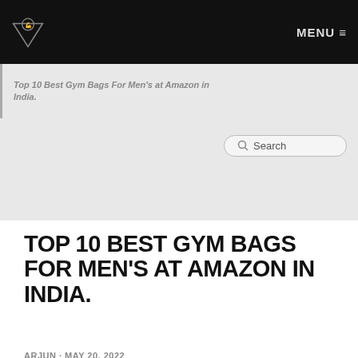MENU ≡
Top 10 Best Gym Bags For Men's at Amazon in India.
TOP 10 BEST GYM BAGS FOR MEN'S AT AMAZON IN INDIA.
ARJUN · MAY 20, 2022